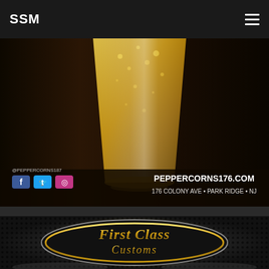SSM
[Figure (photo): Close-up photo of a beer glass on a dark wooden table, with social media icons (Facebook, Twitter, Instagram), @PEPPERCORNS187 handle, PEPPERCORNS176.COM website, and address 176 COLONY AVE • PARK RIDGE • NJ]
[Figure (photo): First Class Customs logo on a dark carbon-fiber-style background with smoke effects]